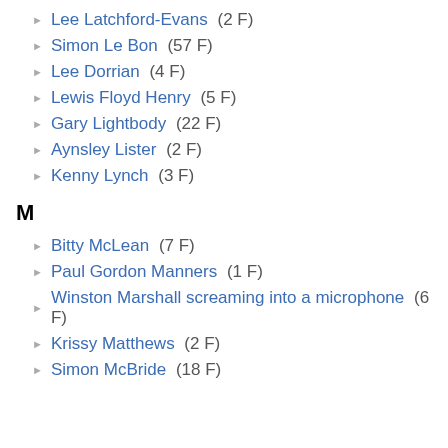Lee Latchford-Evans (2 F)
Simon Le Bon (57 F)
Lee Dorrian (4 F)
Lewis Floyd Henry (5 F)
Gary Lightbody (22 F)
Aynsley Lister (2 F)
Kenny Lynch (3 F)
M
Bitty McLean (7 F)
Paul Gordon Manners (1 F)
Winston Marshall screaming into a microphone (6 F)
Krissy Matthews (2 F)
Simon McBride (18 F)